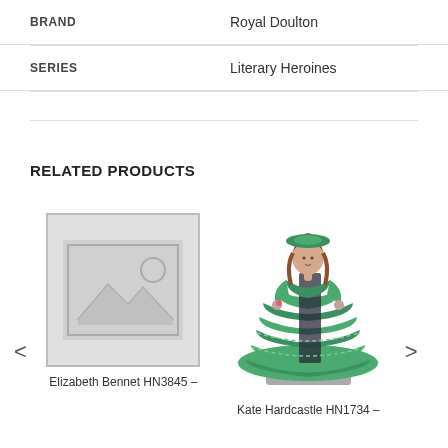| BRAND | Royal Doulton |
| SERIES | Literary Heroines |
RELATED PRODUCTS
[Figure (photo): Placeholder image icon for Elizabeth Bennet HN3845 product]
[Figure (photo): Photo of Kate Hardcastle HN1734 Royal Doulton figurine in green dress]
Elizabeth Bennet HN3845 –
Kate Hardcastle HN1734 –